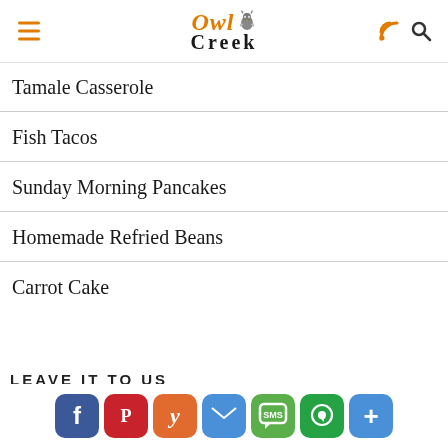Owl Creek (logo with hamburger menu, RSS, and search icons)
Tamale Casserole
Fish Tacos
Sunday Morning Pancakes
Homemade Refried Beans
Carrot Cake
LEAVE IT TO US
[Figure (infographic): Social share buttons row: Facebook (blue), Pinterest (red), Yummly (orange), Email (blue), SMS (green), WhatsApp (green), More (blue)]